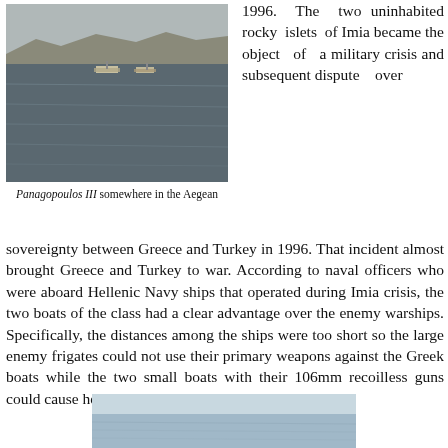[Figure (photo): Photograph of two ships on the Aegean sea with mountainous coastline in the background, gray overcast sky.]
Panagopoulos III somewhere in the Aegean
1996. The two uninhabited rocky islets of Imia became the object of a military crisis and subsequent dispute over sovereignty between Greece and Turkey in 1996. That incident almost brought Greece and Turkey to war. According to naval officers who were aboard Hellenic Navy ships that operated during Imia crisis, the two boats of the class had a clear advantage over the enemy warships. Specifically, the distances among the ships were too short so the large enemy frigates could not use their primary weapons against the Greek boats while the two small boats with their 106mm recoilless guns could cause heavy damage to the Turkish large vessels.
[Figure (photo): Partial photograph of a sea horizon with light blue/grey tones, bottom of page.]